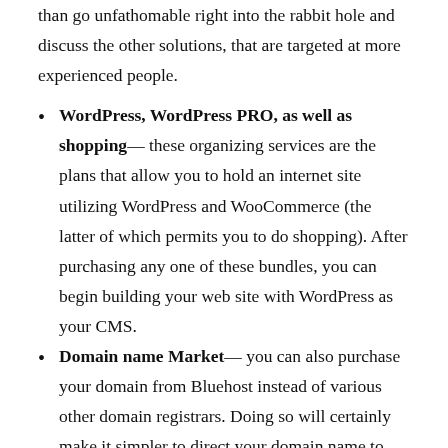than go unfathomable right into the rabbit hole and discuss the other solutions, that are targeted at more experienced people.
WordPress, WordPress PRO, as well as shopping— these organizing services are the plans that allow you to hold an internet site utilizing WordPress and WooCommerce (the latter of which permits you to do shopping). After purchasing any one of these bundles, you can begin building your web site with WordPress as your CMS.
Domain name Market— you can also purchase your domain from Bluehost instead of various other domain registrars. Doing so will certainly make it simpler to direct your domain name to your host's name servers, because you're making use of the very same marketplace.
Email— as soon as you have acquired your domain, it makes sense to also obtain an e-mail address linked to it. As a blogger or on-line business owner, you need to